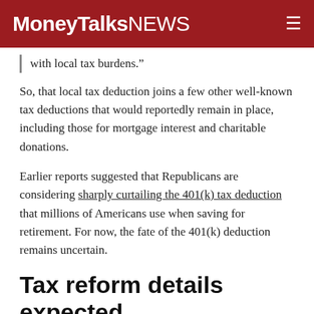MoneyTalksNEWS
with local tax burdens.”
So, that local tax deduction joins a few other well-known tax deductions that would reportedly remain in place, including those for mortgage interest and charitable donations.
Earlier reports suggested that Republicans are considering sharply curtailing the 401(k) tax deduction that millions of Americans use when saving for retirement. For now, the fate of the 401(k) deduction remains uncertain.
Tax reform details expected Wednesday